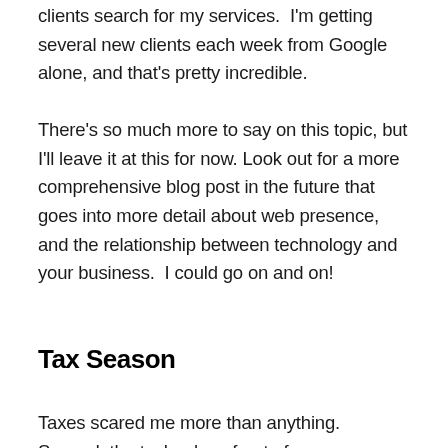clients search for my services.  I'm getting several new clients each week from Google alone, and that's pretty incredible.
There's so much more to say on this topic, but I'll leave it at this for now. Look out for a more comprehensive blog post in the future that goes into more detail about web presence, and the relationship between technology and your business.  I could go on and on!
Tax Season
Taxes scared me more than anything. Second, the technology front of...